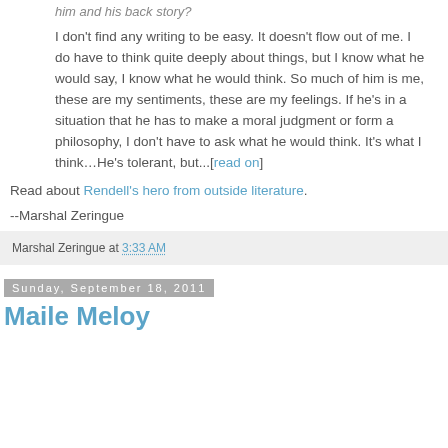him and his back story?
I don't find any writing to be easy. It doesn't flow out of me. I do have to think quite deeply about things, but I know what he would say, I know what he would think. So much of him is me, these are my sentiments, these are my feelings. If he's in a situation that he has to make a moral judgment or form a philosophy, I don't have to ask what he would think. It's what I think…He's tolerant, but...[read on]
Read about Rendell's hero from outside literature.
--Marshal Zeringue
Marshal Zeringue at 3:33 AM
Sunday, September 18, 2011
Maile Meloy